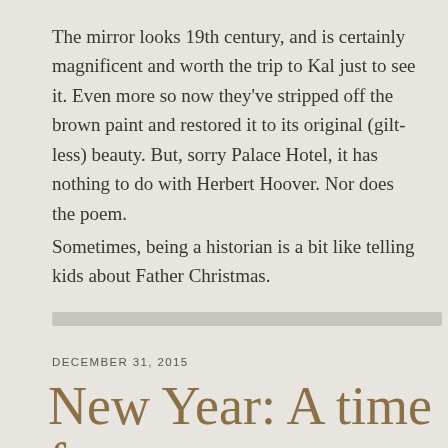The mirror looks 19th century, and is certainly magnificent and worth the trip to Kal just to see it. Even more so now they've stripped off the brown paint and restored it to its original (gilt-less) beauty. But, sorry Palace Hotel, it has nothing to do with Herbert Hoover. Nor does the poem.
Sometimes, being a historian is a bit like telling kids about Father Christmas.
DECEMBER 31, 2015
New Year: A time for sexy mermaids